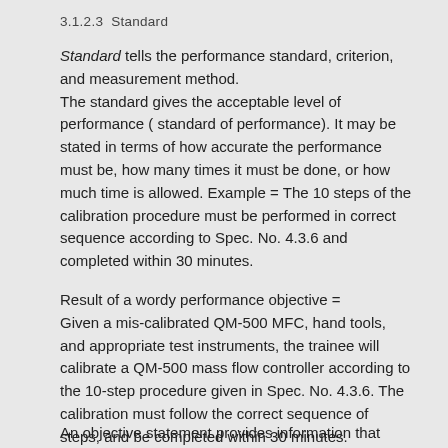3.1.2.3  Standard
Standard tells the performance standard, criterion, and measurement method.
The standard gives the acceptable level of performance ( standard of performance). It may be stated in terms of how accurate the performance must be, how many times it must be done, or how much time is allowed. Example = The 10 steps of the calibration procedure must be performed in correct sequence according to Spec. No. 4.3.6 and completed within 30 minutes.
Result of a wordy performance objective =
Given a mis-calibrated QM-500 MFC, hand tools, and appropriate test instruments, the trainee will calibrate a QM-500 mass flow controller according to the 10-step procedure given in Spec. No. 4.3.6. The calibration must follow the correct sequence of steps, and be completed within 30 minutes.
An objective statement provides information that